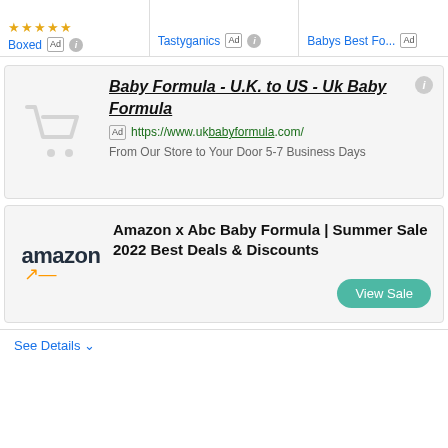[Figure (screenshot): Top strip showing three shopping ads: Boxed (with stars, Ad badge), Tastyganics (Ad badge), Babys Best Fo... (Ad badge)]
[Figure (screenshot): Ad card for 'Baby Formula - U.K. to US - Uk Baby Formula' with shopping cart icon, Ad badge, URL https://www.ukbabyformula.com/, and description 'From Our Store to Your Door 5-7 Business Days']
[Figure (screenshot): Amazon ad card for 'Amazon x Abc Baby Formula | Summer Sale 2022 Best Deals & Discounts' with Amazon logo and 'View Sale' button]
See Details